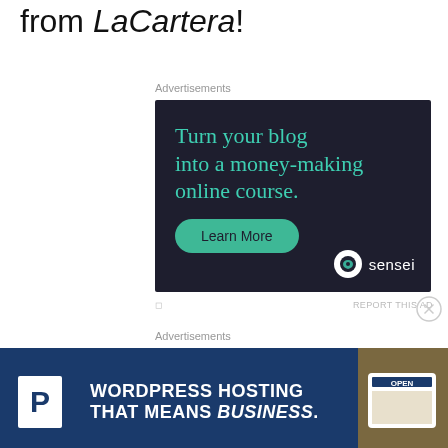from LaCartera!
Advertisements
[Figure (infographic): Dark navy advertisement for Sensei: 'Turn your blog into a money-making online course.' with a teal 'Learn More' button and Sensei logo/branding at bottom right.]
Advertisements
[Figure (infographic): Blue advertisement for WordPress Hosting: 'WORDPRESS HOSTING THAT MEANS BUSINESS.' with a large P logo on left and an OPEN sign photo on right.]